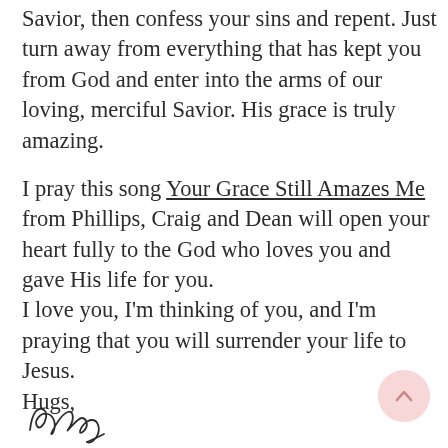Savior, then confess your sins and repent. Just turn away from everything that has kept you from God and enter into the arms of our loving, merciful Savior. His grace is truly amazing.
I pray this song Your Grace Still Amazes Me from Phillips, Craig and Dean will open your heart fully to the God who loves you and gave His life for you.
I love you, I'm thinking of you, and I'm praying that you will surrender your life to Jesus.
Hugs,
[Figure (illustration): Cursive handwritten signature reading 'Nancy']